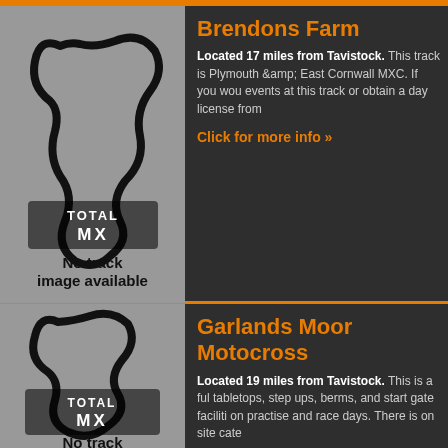Brendons Farm
Located 17 miles from Tavistock. This track is Plymouth & East Cornwall MXC. If you would events at this track or obtain a day license from
Click for more info »
[Figure (illustration): Total MX placeholder image showing a motocross track outline on grey background with 'TOTAL MX' logo text, and caption 'No track image available']
Garlands Moor Motocross
Located 19 miles from Tavistock. This is a full tabletops, step ups, berms, and start gate faciliti on practise and race days. There is on site cate
Click for more info »
[Figure (illustration): Total MX placeholder image showing a motocross track outline on grey background with 'TOTAL MX' logo text, and caption 'No track']